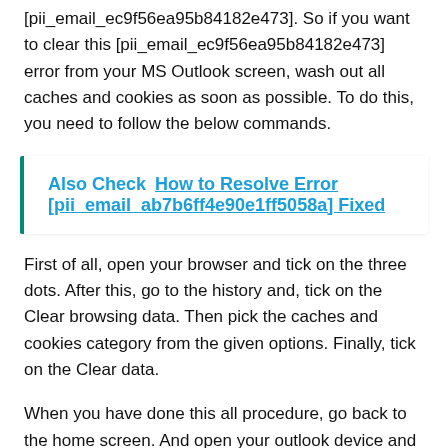[pii_email_ec9f56ea95b84182e473]. So if you want to clear this [pii_email_ec9f56ea95b84182e473] error from your MS Outlook screen, wash out all caches and cookies as soon as possible. To do this, you need to follow the below commands.
Also Check  How to Resolve Error [pii_email_ab7b6ff4e90e1ff5058a] Fixed
First of all, open your browser and tick on the three dots. After this, go to the history and, tick on the Clear browsing data. Then pick the caches and cookies category from the given options. Finally, tick on the Clear data.
When you have done this all procedure, go back to the home screen. And open your outlook device and try to send an email to check the [pii_email_57bde08c1ab8c5c265e8] error